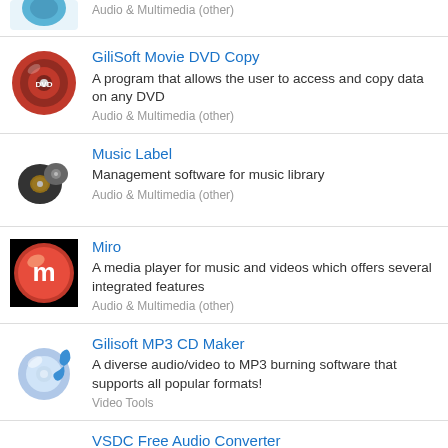Audio & Multimedia (other)
GiliSoft Movie DVD Copy
A program that allows the user to access and copy data on any DVD
Audio & Multimedia (other)
Music Label
Management software for music library
Audio & Multimedia (other)
Miro
A media player for music and videos which offers several integrated features
Audio & Multimedia (other)
Gilisoft MP3 CD Maker
A diverse audio/video to MP3 burning software that supports all popular formats!
Video Tools
VSDC Free Audio Converter
A free audio conversion software
Audio & Multimedia (other)